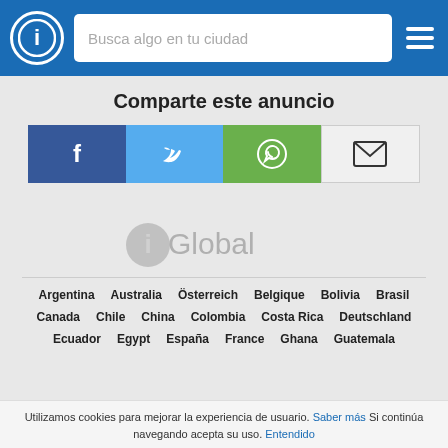Busca algo en tu ciudad
Comparte este anuncio
[Figure (infographic): Social share buttons: Facebook, Twitter, WhatsApp, Email]
[Figure (logo): iGlobal logo with circle-i icon and text 'Global']
Argentina  Australia  Österreich  Belgique  Bolivia  Brasil
Canada  Chile  China  Colombia  Costa Rica  Deutschland
Ecuador  Egypt  España  France  Ghana  Guatemala
Utilizamos cookies para mejorar la experiencia de usuario. Saber más Si continúa navegando acepta su uso. Entendido